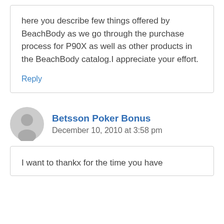here you describe few things offered by BeachBody as we go through the purchase process for P90X as well as other products in the BeachBody catalog.I appreciate your effort.
Reply
Betsson Poker Bonus
December 10, 2010 at 3:58 pm
I want to thankx for the time you have